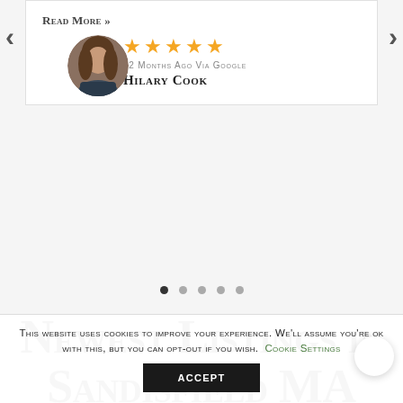Read More »
[Figure (illustration): Circular avatar photo of a woman with long dark hair]
12 MONTHS AGO VIA GOOGLE
HILARY COOK
Newest Listings in Sandisfield MA
This website uses cookies to improve your experience. We'll assume you're ok with this, but you can opt-out if you wish. Cookie Settings
ACCEPT